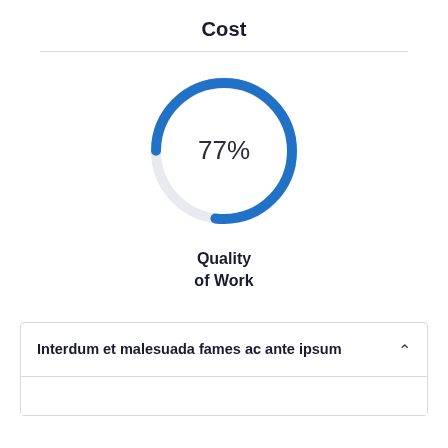Cost
[Figure (donut-chart): Quality of Work]
Interdum et malesuada fames ac ante ipsum